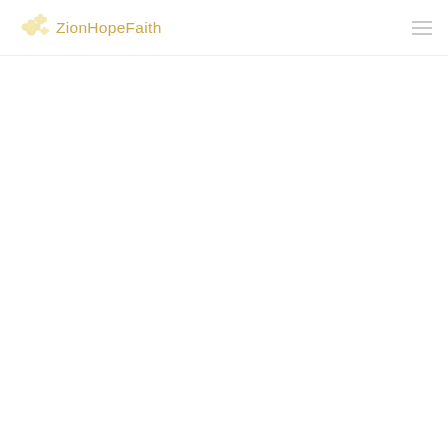ZionHopeFaith
[Figure (logo): ZionHopeFaith logo with floral/flower cluster icon in pale gold and text 'ZionHopeFaith' in light gold color, plus a hamburger menu icon on the right]